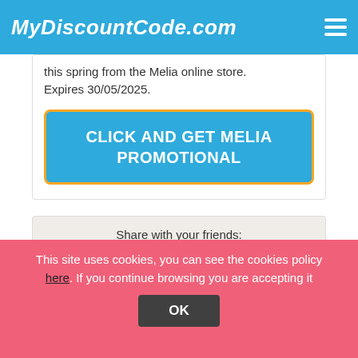MyDiscountCode.com
this spring from the Melia online store. Expires 30/05/2025.
CLICK AND GET MELIA PROMOTIONAL
Share with your friends:
f  Facebook
Tweet
Google+
This site uses cookies, you can see the cookies policy here. If you continue browsing you are accepting it
OK